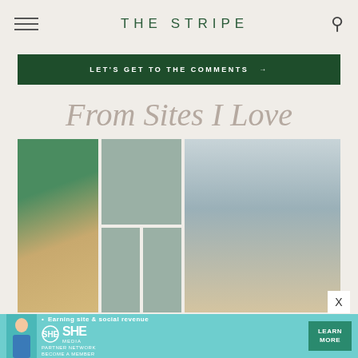THE STRIPE
LET'S GET TO THE COMMENTS →
From Sites I Love
[Figure (photo): Photo collage: left image of woman in swimsuit on tropical beach; center grid of four images including plant-based products and items; right image of woman with light hair by the sea in white shirt]
X
[Figure (other): SHE Media Partner Network advertisement banner with teal background, woman in blue, text: Earning site & social revenue, SHE PARTNER NETWORK BECOME A MEMBER, LEARN MORE button]